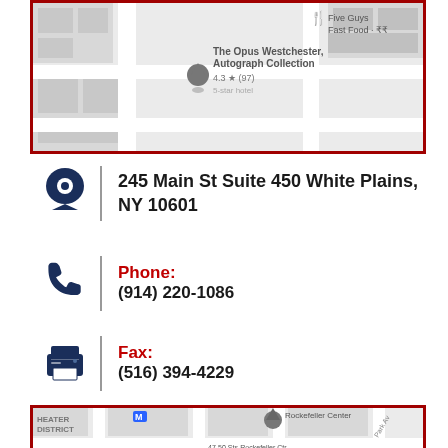[Figure (map): Google Maps view showing The Opus Westchester Autograph Collection hotel (4.3 stars, 97 reviews) and Five Guys Fast Food nearby]
245 Main St Suite 450 White Plains, NY 10601
Phone: (914) 220-1086
Fax: (516) 394-4229
[Figure (map): Google Maps view of Midtown Manhattan showing Rockefeller Center, Diamond District, Little Brazil, 47-50 Sts-Rockefeller Ctr subway, 42 St-Bryant Park subway, Madison Ave, Park Ave, Lexington Ave, Times Sq-42 St]